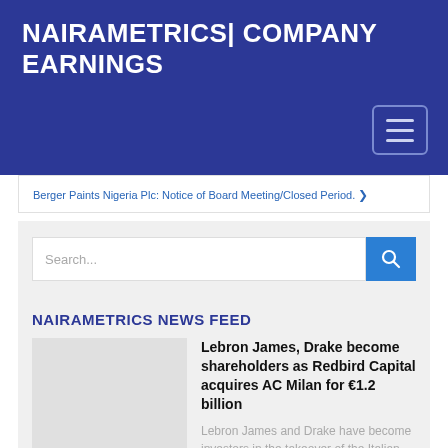NAIRAMETRICS| COMPANY EARNINGS
Berger Paints Nigeria Plc: Notice of Board Meeting/Closed Period.
Search...
NAIRAMETRICS NEWS FEED
Lebron James, Drake become shareholders as Redbird Capital acquires AC Milan for €1.2 billion
Lebron James and Drake have become investors in the takeover of the Italian football club, AC Milan by Redbird Capital and